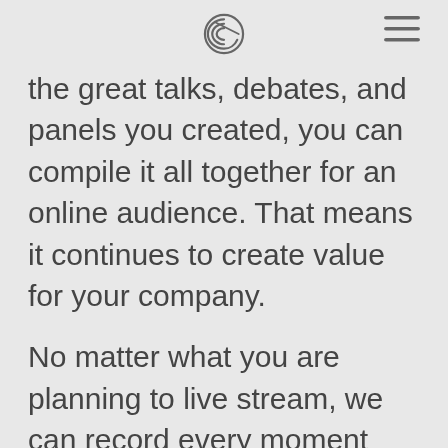[logo and hamburger menu]
the great talks, debates, and panels you created, you can compile it all together for an online audience. That means it continues to create value for your company.
No matter what you are planning to live stream, we can record every moment directly just the same way we would any other project. This means the footage can then go through the post-production process and be ready to broadcast on any platform. With such a vast amount